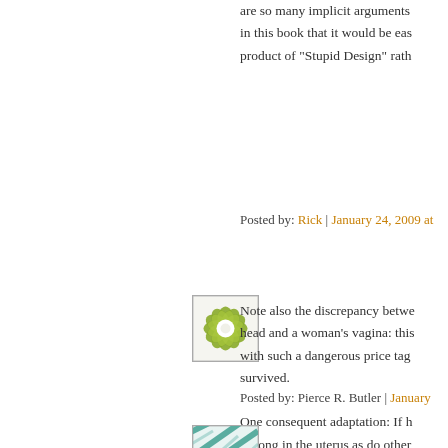are so many implicit arguments in this book that it would be eas product of "Stupid Design" rath
Posted by: Rick | January 24, 2009 at
[Figure (illustration): Green flower/snowflake pattern avatar icon with white center on light background]
Note also the discrepancy betwe head and a woman's vagina: this with such a dangerous price tag survived.
One consequent adaptation: If h as long in the uterus as do other born until after 12 months of ge any woman who's given birth, a turn pale.
Posted by: Pierce R. Butler | January
[Figure (illustration): Teal/blue diagonal striped pattern avatar icon]